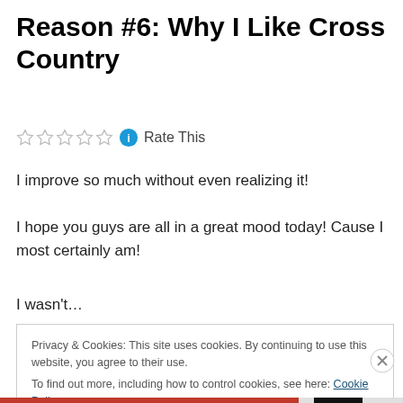Reason #6: Why I Like Cross Country
Rate This
I improve so much without even realizing it!
I hope you guys are all in a great mood today! Cause I most certainly am!
I wasn't…
Privacy & Cookies: This site uses cookies. By continuing to use this website, you agree to their use. To find out more, including how to control cookies, see here: Cookie Policy